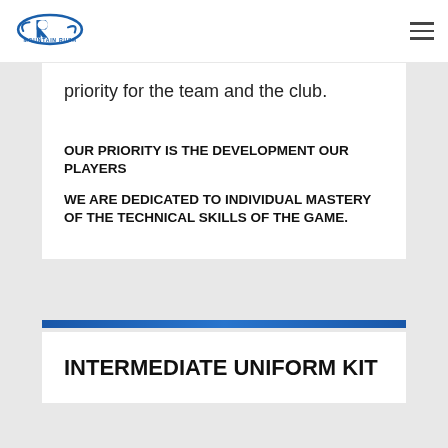Mountain Rush
priority for the team and the club.
OUR PRIORITY IS THE DEVELOPMENT OUR PLAYERS
WE ARE DEDICATED TO INDIVIDUAL MASTERY OF THE TECHNICAL SKILLS OF THE GAME.
INTERMEDIATE UNIFORM KIT